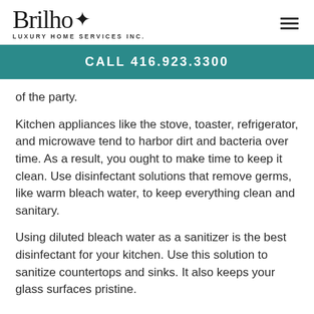Brilho* LUXURY HOME SERVICES INC.
CALL 416.923.3300
of the party.
Kitchen appliances like the stove, toaster, refrigerator, and microwave tend to harbor dirt and bacteria over time. As a result, you ought to make time to keep it clean. Use disinfectant solutions that remove germs, like warm bleach water, to keep everything clean and sanitary.
Using diluted bleach water as a sanitizer is the best disinfectant for your kitchen. Use this solution to sanitize countertops and sinks. It also keeps your glass surfaces pristine.